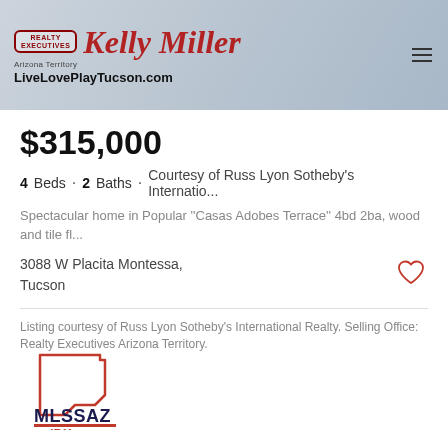[Figure (logo): Realty Executives Kelly Miller Arizona Territory header banner with LiveLovePlayTucson.com website and hamburger menu icon]
$315,000
4 Beds · 2 Baths · Courtesy of Russ Lyon Sotheby's Internatio...
Spectacular home in Popular ''Casas Adobes Terrace'' 4bd 2ba, wood and tile fl...
3088 W Placita Montessa,
Tucson
Listing courtesy of Russ Lyon Sotheby's International Realty. Selling Office: Realty Executives Arizona Territory.
[Figure (logo): MLSSAZ IDX logo — Arizona state outline in orange-red above the text MLSSAZ IDX]